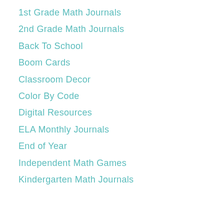1st Grade Math Journals
2nd Grade Math Journals
Back To School
Boom Cards
Classroom Decor
Color By Code
Digital Resources
ELA Monthly Journals
End of Year
Independent Math Games
Kindergarten Math Journals